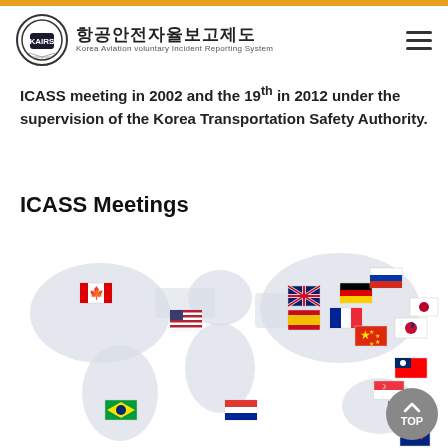항공안전자율보고제도 (KAIRS) - Korea Aviation voluntary Incident Reporting System
ICASS meeting in 2002 and the 19th in 2012 under the supervision of the Korea Transportation Safety Authority.
ICASS Meetings
[Figure (map): World map with flags indicating ICASS member countries: Canada, USA, UK, Spain, Germany, France, Russia, China, South Korea, Japan, Taiwan, Singapore, Brazil, South Africa, Australia, and New Zealand.]